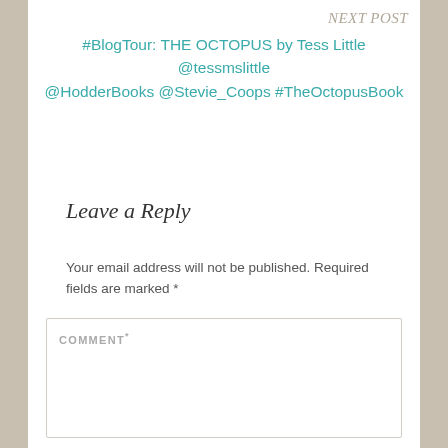NEXT POST
#BlogTour: THE OCTOPUS by Tess Little @tessmslittle @HodderBooks @Stevie_Coops #TheOctopusBook
Leave a Reply
Your email address will not be published. Required fields are marked *
COMMENT *